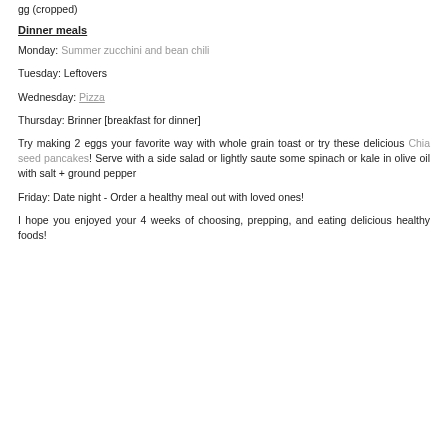gg (cropped text from previous page)
Dinner meals
Monday: Summer zucchini and bean chili
Tuesday: Leftovers
Wednesday: Pizza
Thursday: Brinner [breakfast for dinner]
Try making 2 eggs your favorite way with whole grain toast or try these delicious Chia seed pancakes! Serve with a side salad or lightly saute some spinach or kale in olive oil with salt + ground pepper
Friday: Date night - Order a healthy meal out with loved ones!
I hope you enjoyed your 4 weeks of choosing, prepping, and eating delicious healthy foods!